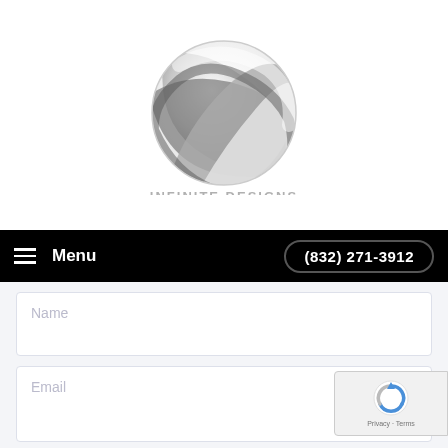[Figure (logo): Infinite Designs logo — a 3D silver/chrome sphere made of interwoven ribbon-like bands, with the company name 'INFINITE DESIGNS' and tagline 'DESIGNING YOUR DREAMS' below]
[Figure (screenshot): Black navigation bar with hamburger menu icon and 'Menu' text on the left, and '(832) 271-3912' phone number in a rounded border button on the right]
[Figure (screenshot): Contact form section with three visible input fields: Name, Email, Phone Number, and the beginning of an Enter Your Message field. A reCAPTCHA badge is overlaid in the bottom-right corner.]